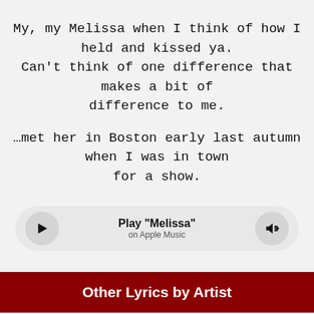My, my Melissa when I think of how I held and kissed ya. Can't think of one difference that makes a bit of difference to me.
…met her in Boston early last autumn when I was in town for a show.
[Figure (other): Music player bar with play button, 'Play "Melissa"' text, 'on Apple Music' subtitle, and volume button]
Other Lyrics by Artist
Ray Stevens - Gone For Good
Ray Stevens - I Got Stoned And I...